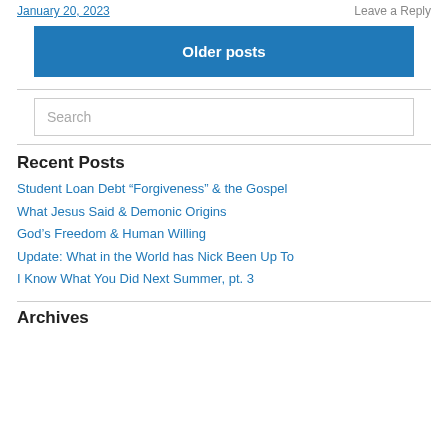January 20, 2023   Leave a Reply
Older posts
Search
Recent Posts
Student Loan Debt “Forgiveness” & the Gospel
What Jesus Said & Demonic Origins
God’s Freedom & Human Willing
Update: What in the World has Nick Been Up To
I Know What You Did Next Summer, pt. 3
Archives